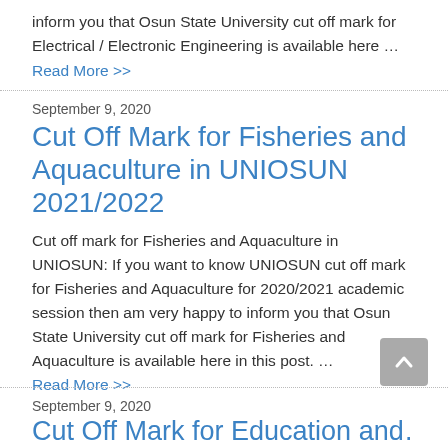inform you that Osun State University cut off mark for Electrical / Electronic Engineering is available here …
Read More >>
September 9, 2020
Cut Off Mark for Fisheries and Aquaculture in UNIOSUN 2021/2022
Cut off mark for Fisheries and Aquaculture in UNIOSUN: If you want to know UNIOSUN cut off mark for Fisheries and Aquaculture for 2020/2021 academic session then am very happy to inform you that Osun State University cut off mark for Fisheries and Aquaculture is available here in this post. … Read More >>
September 9, 2020
Cut Off Mark for Education and…